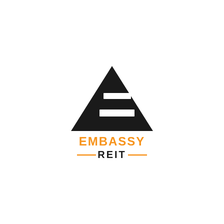[Figure (logo): Embassy REIT logo: a black triangle/pyramid shape with a stylized 'E' cutout (two horizontal white bars creating letter E effect), above the text 'EMBASSY' in orange bold uppercase and 'REIT' in dark/black bold uppercase flanked by orange horizontal dashes]